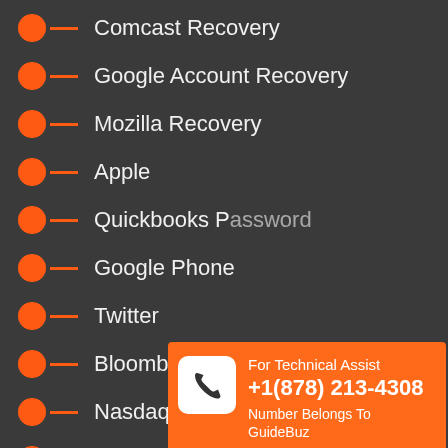Comcast Recovery
Google Account Recovery
Mozilla Recovery
Apple
Quickbooks Password
Google Phone
Twitter
Bloomberg
Nasdaq
iTunes Password
Adobe Recovery
Cox Password
[Figure (infographic): Orange popup card with phone icon, showing 'For Technical Assist +1(878) 213-4308 Number Belongs To GuideBuz']